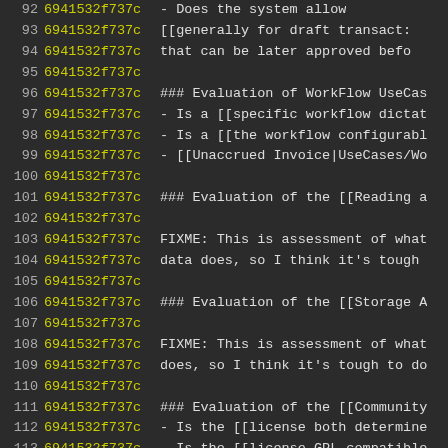Code viewer showing lines 92-115 with line numbers, commit hashes (6941532f737c in yellow), and code/markdown content including workflow evaluation sections and FIXME comments.